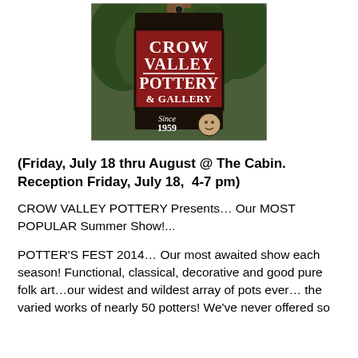[Figure (photo): A wooden hanging sign for Crow Valley Pottery & Gallery, Since 1959, with a dark background and red/white lettering, hanging from a post with trees in background.]
(Friday, July 18 thru August @ The Cabin. Reception Friday, July 18,  4-7 pm)
CROW VALLEY POTTERY Presents… Our MOST POPULAR Summer Show!...
POTTER'S FEST 2014… Our most awaited show each season! Functional, classical, decorative and good pure folk art…our widest and wildest array of pots ever… the varied works of nearly 50 potters! We've never offered so